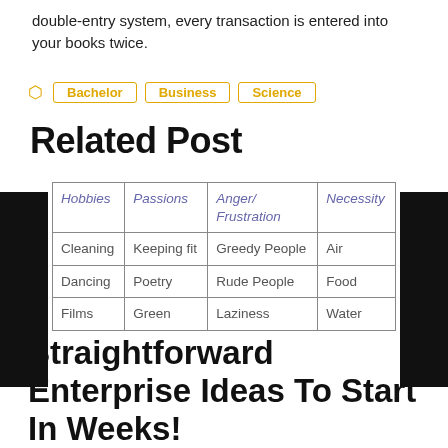double-entry system, every transaction is entered into your books twice.
Bachelor
Business
Science
Related Post
| Hobbies | Passions | Anger/
Frustration | Necessity |
| --- | --- | --- | --- |
| Cleaning | Keeping fit | Greedy People | Air |
| Dancing | Poetry | Rude People | Food |
| Films | Green | Laziness | Water |
Straightforward Enterprise Ideas To Start In Weeks!